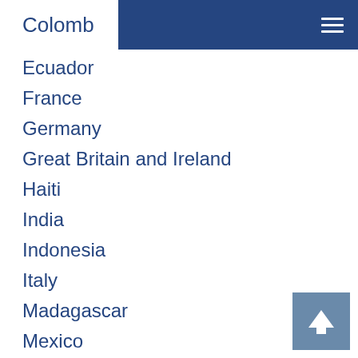Colomb
Ecuador
France
Germany
Great Britain and Ireland
Haiti
India
Indonesia
Italy
Madagascar
Mexico
Netherlands
Papua New Guinea
Peru-Brazil
Philippines
Portugal
All categories